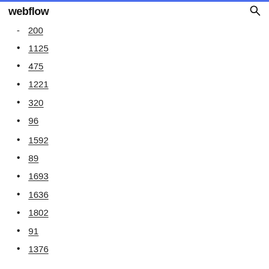webflow
200
1125
475
1221
320
96
1592
89
1693
1636
1802
91
1376